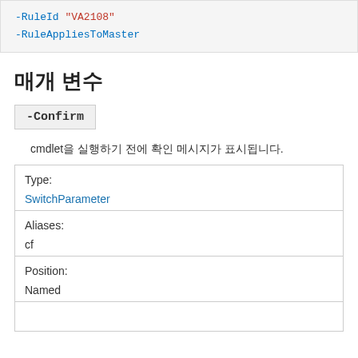-RuleId "VA2108"
-RuleAppliesToMaster
매개 변수
-Confirm
cmdlet을 실행하기 전에 확인 메시지가 표시됩니다.
| Property | Value |
| --- | --- |
| Type: | SwitchParameter |
| Aliases: | cf |
| Position: | Named |
|  |  |